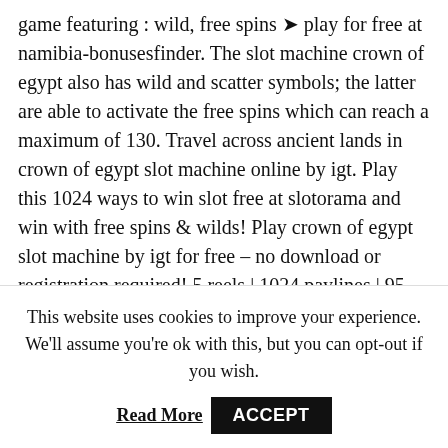game featuring : wild, free spins ➤ play for free at namibia-bonusesfinder. The slot machine crown of egypt also has wild and scatter symbols; the latter are able to activate the free spins which can reach a maximum of 130. Travel across ancient lands in crown of egypt slot machine online by igt. Play this 1024 ways to win slot free at slotorama and win with free spins & wilds! Play crown of egypt slot machine by igt for free – no download or registration required! 5 reels | 1024 paylines | 95. 03% rtp | released on jan 10, 2013. Play free demo crown of egypt slot. No download no registration by igt. Enjoy demo on pc mobile, iphone android, ipad. Yes, you can play crown of egypt slot for free at vegasslotsonline. We always recommend trying
This website uses cookies to improve your experience. We'll assume you're ok with this, but you can opt-out if you wish.
Read More   ACCEPT